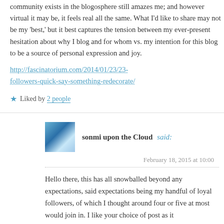community exists in the blogosphere still amazes me; and however virtual it may be, it feels real all the same. What I'd like to share may not be my 'best,' but it best captures the tension between my ever-present hesitation about why I blog and for whom vs. my intention for this blog to be a source of personal expression and joy.
http://fascinatorium.com/2014/01/23/23-followers-quick-say-something-redecorate/
★ Liked by 2 people
sonmi upon the Cloud said:
February 18, 2015 at 10:00
Hello there, this has all snowballed beyond any expectations, said expectations being my handful of loyal followers, of which I thought around four or five at most would join in. I like your choice of post as it